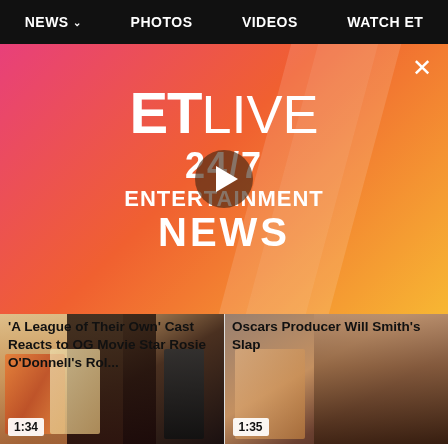NEWS  PHOTOS  VIDEOS  WATCH ET
[Figure (screenshot): ET LIVE 24/7 ENTERTAINMENT NEWS video overlay with play button and close X button on gradient pink-orange-yellow background]
[Figure (photo): Video thumbnail showing cast members of A League of Their Own, duration 1:34]
'A League of Their Own' Cast Reacts to OG Movie Star Rosie O'Donnell's Rol...
6H AGO
[Figure (photo): Video thumbnail showing Oscars producer, duration 1:35]
Oscars Producer Will Smith's Slap
6H AGO